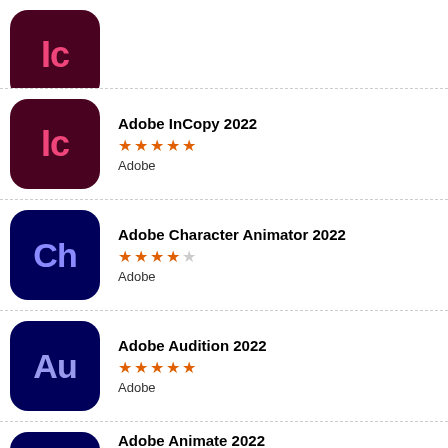[Figure (screenshot): Partial top of an app listing (InCopy icon cropped)]
Adobe InCopy 2022 - 5 stars - Adobe
Adobe Character Animator 2022 - 4 stars - Adobe
Adobe Audition 2022 - 5 stars - Adobe
Adobe Animate 2022 - 5 stars - Adobe
This site uses cookies to provide you with a great user experience. By using this website, you agree to our use of cookies.